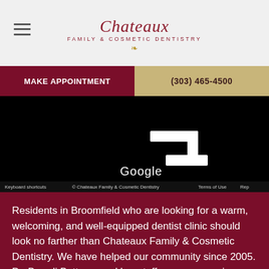Chateaux Family & Cosmetic Dentistry
MAKE APPOINTMENT
(303) 465-4500
[Figure (screenshot): Google Maps embed showing Chateaux Family & Cosmetic Dentistry location on a black background with Google logo, keyboard shortcuts and copyright text at bottom]
Residents in Broomfield who are looking for a warm, welcoming, and well-equipped dentist clinic should look no farther than Chateaux Family & Cosmetic Dentistry. We have helped our community since 2005. Dr. Brandi Bottoms and her staff are a very caring group of